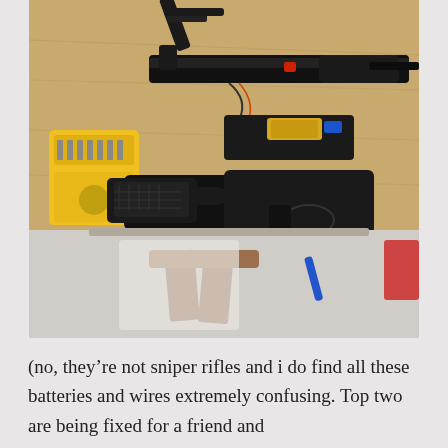[Figure (photo): Photograph taken from above showing disassembled airsoft/replica firearms and parts laid out on a wooden table. Visible items include a black pistol, a black rifle upper receiver with barrel and foregrip, a black rifle lower receiver with buttstock, an upper receiver with electronics/battery pack, and a yellow screwdriver bit set case. Below the table is a wooden sawhorse structure and various other items.]
(no, they're not sniper rifles and i do find all these batteries and wires extremely confusing. Top two are being fixed for a friend and